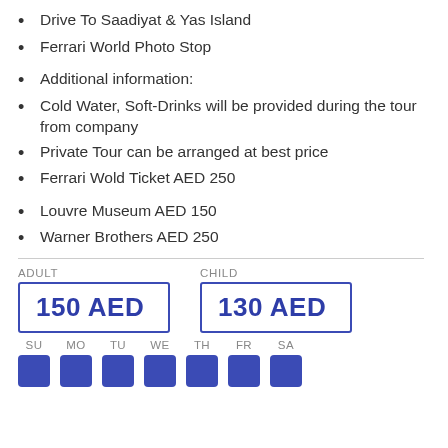Drive To Saadiyat & Yas Island
Ferrari World Photo Stop
Additional information:
Cold Water, Soft-Drinks will be provided during the tour from company
Private Tour can be arranged at best price
Ferrari Wold Ticket AED 250
Louvre Museum AED 150
Warner Brothers AED 250
| ADULT | CHILD |
| --- | --- |
| 150 AED | 130 AED |
[Figure (infographic): Day of week availability indicator showing SU MO TU WE TH FR SA all highlighted in blue squares]